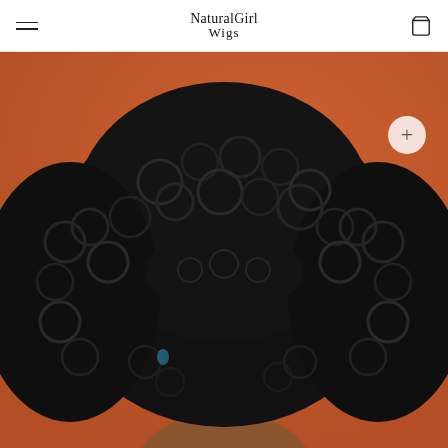NaturalGirl Wigs — navigation bar with hamburger menu, logo, and cart icon
[Figure (photo): Product photo of a woman wearing a large, voluminous curly black wig against an orange painted wall background. She is smiling and looking slightly upward. The wig has tight, defined curls. There is a white circular plus (+) button overlay in the upper right of the image.]